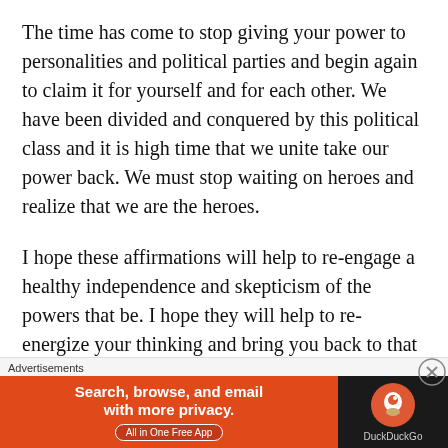The time has come to stop giving your power to personalities and political parties and begin again to claim it for yourself and for each other. We have been divided and conquered by this political class and it is high time that we unite take our power back. We must stop waiting on heroes and realize that we are the heroes.
I hope these affirmations will help to re-engage a healthy independence and skepticism of the powers that be. I hope they will help to re-energize your thinking and bring you back to that calm political center where sound decisions and reasonable dialogue can take place. Vote your conscience next week. Vote for yourselves and your families. Don't vote based on
Advertisements
[Figure (infographic): DuckDuckGo advertisement banner: orange left section with text 'Search, browse, and email with more privacy. All in One Free App' and dark right section with DuckDuckGo logo and name.]